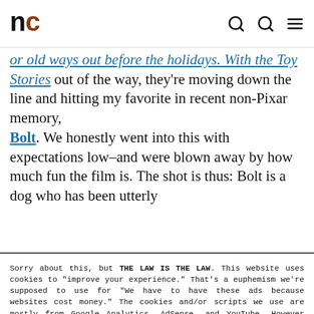nc
or old ways out before the holidays. With the Toy Stories out of the way, they're moving down the line and hitting my favorite in recent non-Pixar memory, Bolt. We honestly went into this with expectations low–and were blown away by how much fun the film is. The shot is thus: Bolt is a dog who has been utterly
Sorry about this, but THE LAW IS THE LAW. This website uses cookies to "improve your experience." That's a euphemism we're supposed to use for "We have to have these ads because websites cost money." The cookies and/or scripts we use are mostly from Google Analytics, AdSense, and YouTube. However we've instructed Google to anonymize any data that they collect. Just so you know. We'll assume you're ok with this, but you can opt-out if you wish. Just bear in mind, certain embeds and such might not work.<br /> <br /> Also, please be aware that when we link out to products, we may earn a commission for doing so. Because we're certainly not doing it for our health. See our privacy policy & terms of use for more info than you would ever want to know. – Privacy Policy & Terms of Use